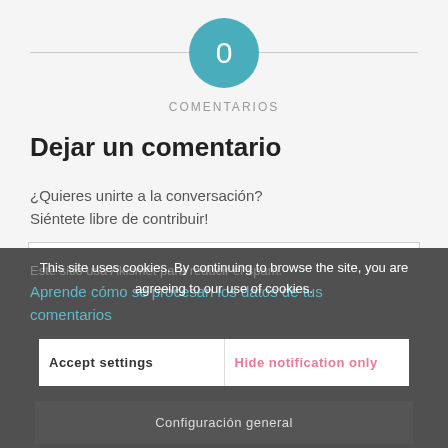[Figure (other): Teal circle badge with number 0 centered on a horizontal divider line]
COMENTARIOS
Dejar un comentario
¿Quieres unirte a la conversación?
Siéntete libre de contribuir!
Introduce aquí tu comentario...
This site uses cookies. By continuing to browse the site, you are agreeing to our use of cookies.
Este sitio usa Akismet para reducir el spam. Aprende cómo se procesan los datos de tus comentarios.
Accept settings
Hide notification only
Configuración general